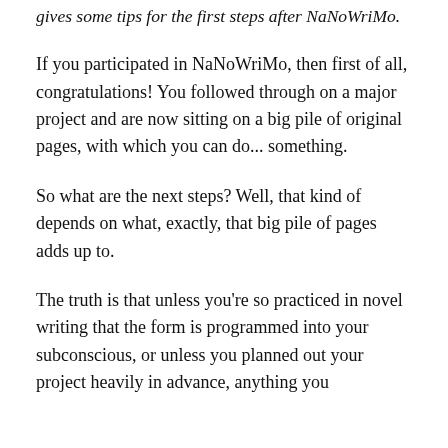gives some tips for the first steps after NaNoWriMo.
If you participated in NaNoWriMo, then first of all, congratulations! You followed through on a major project and are now sitting on a big pile of original pages, with which you can do... something.
So what are the next steps? Well, that kind of depends on what, exactly, that big pile of pages adds up to.
The truth is that unless you're so practiced in novel writing that the form is programmed into your subconscious, or unless you planned out your project heavily in advance, anything you